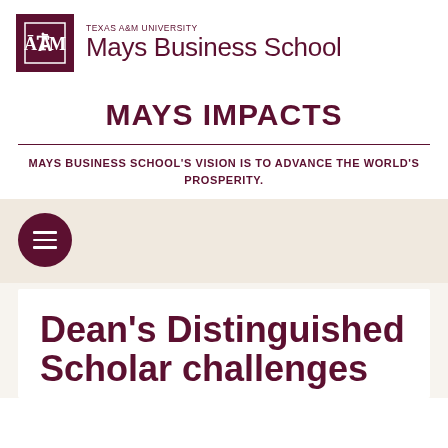TEXAS A&M UNIVERSITY Mays Business School
MAYS IMPACTS
MAYS BUSINESS SCHOOL'S VISION IS TO ADVANCE THE WORLD'S PROSPERITY.
[Figure (other): Hamburger menu button (three horizontal lines) in a dark maroon circle, on a beige background]
Dean's Distinguished Scholar challenges